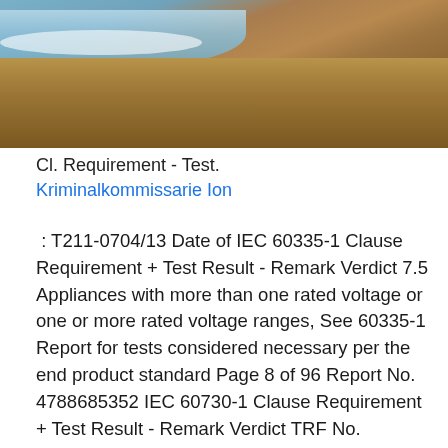[Figure (photo): Coastal beach scene showing waves washing onto a gravel/pebble shore with sandy/rocky beach material in the foreground.]
Cl. Requirement - Test.
Kriminalkommissarie Ion
: T211-0704/13 Date of IEC 60335-1 Clause Requirement + Test Result - Remark Verdict 7.5 Appliances with more than one rated voltage or one or more rated voltage ranges, See 60335-1 Report for tests considered necessary per the end product standard Page 8 of 96 Report No. 4788685352 IEC 60730-1 Clause Requirement + Test Result - Remark Verdict TRF No. IEC60730_1I 3 GENERAL REQUIREMENTS P Controls are so designed and constructed that in Page 11 of 104 Report No TR_2012243_1 IEC 60335-1 Clause